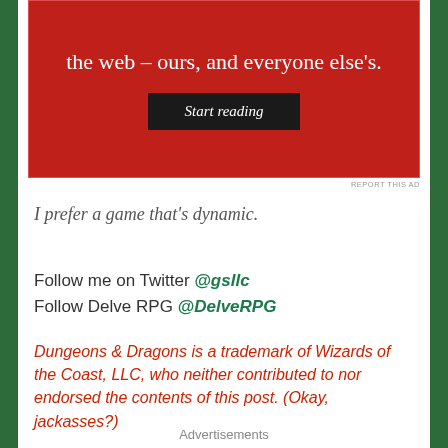[Figure (screenshot): Red advertisement banner with white text reading 'the web – ours, and everyone else's.' and a dark 'Start reading' button]
REPORT THIS AD
I prefer a game that's dynamic.
Follow me on Twitter @gsllc
Follow Delve RPG @DelveRPG
Dungeons & Dragons is a trademark of Wizards of the Coast, LLC, who neither contributed to nor endorsed the contents of this post. (Okay, jackasses?)
Advertisements